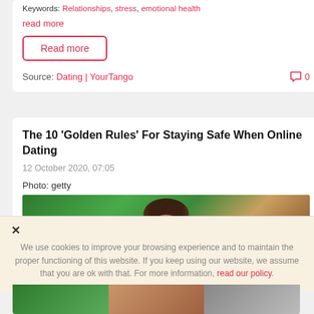Keywords: Relationships; stress; emotional health
read more
Read more
Source: Dating | YourTango   0
The 10 'Golden Rules' For Staying Safe When Online Dating
12 October 2020, 07:05
Photo: getty
[Figure (photo): Woman with curly hair against green foliage background]
We use cookies to improve your browsing experience and to maintain the proper functioning of this website. If you keep using our website, we assume that you are ok with that. For more information, read our policy.